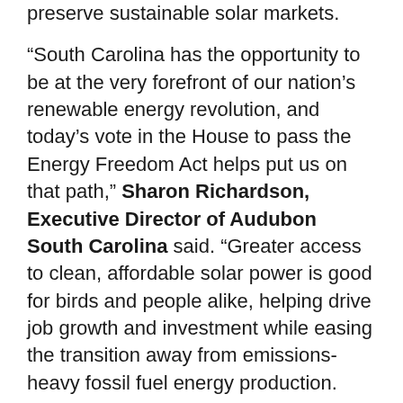preserve sustainable solar markets.
“South Carolina has the opportunity to be at the very forefront of our nation’s renewable energy revolution, and today’s vote in the House to pass the Energy Freedom Act helps put us on that path,” Sharon Richardson, Executive Director of Audubon South Carolina said. “Greater access to clean, affordable solar power is good for birds and people alike, helping drive job growth and investment while easing the transition away from emissions-heavy fossil fuel energy production.
“The South Carolina House has shown tremendous leadership in passing this much-needed legislation to lower consumers’ electric